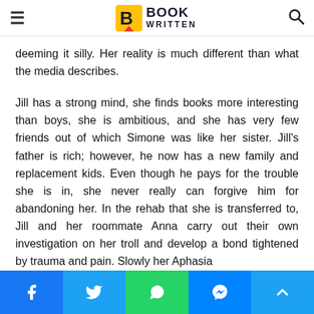BOOK WRITTEN
deeming it silly. Her reality is much different than what the media describes.
Jill has a strong mind, she finds books more interesting than boys, she is ambitious, and she has very few friends out of which Simone was like her sister. Jill's father is rich; however, he now has a new family and replacement kids. Even though he pays for the trouble she is in, she never really can forgive him for abandoning her. In the rehab that she is transferred to, Jill and her roommate Anna carry out their own investigation on her troll and develop a bond tightened by trauma and pain. Slowly her Aphasia
Share buttons: Facebook, Twitter, WhatsApp, Messenger, Scroll to top